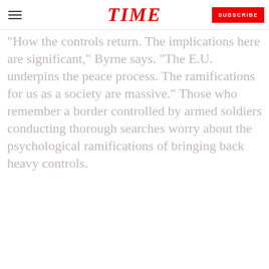TIME | SUBSCRIBE
"How the controls return. The implications here are significant," Byrne says. "The E.U. underpins the peace process. The ramifications for us as a society are massive." Those who remember a border controlled by armed soldiers conducting thorough searches worry about the psychological ramifications of bringing back heavy controls.